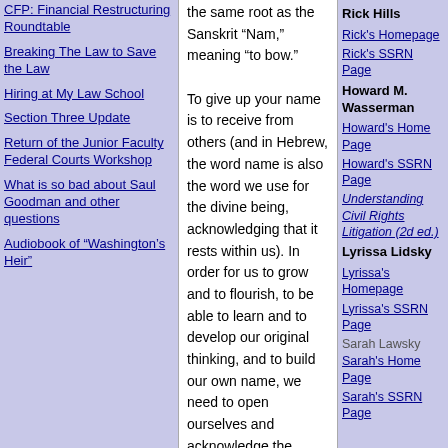CFP: Financial Restructuring Roundtable
Breaking The Law to Save the Law
Hiring at My Law School
Section Three Update
Return of the Junior Faculty Federal Courts Workshop
What is so bad about Saul Goodman and other questions
Audiobook of "Washington's Heir"
the same root as the Sanskrit “Nam,” meaning “to bow.”

To give up your name is to receive from others (and in Hebrew, the word name is also the word we use for the divine being, acknowledging that it rests within us). In order for us to grow and to flourish, to be able to learn and to develop our original thinking, and to build our own name, we need to open ourselves and acknowledge the power our teachers have over us. We develop our experience of gratitude and recognition (kinda like nodding to a reference, usuing footnotes, citations and quotes). The ultimate recognition is that, for each of us, our highest teacher is ourself.
Posted by Orly Lobel on May 25, 2005 at 03:54 PM in Life of Law Schools | Permalink
TRACKBACK
TrackBack URL for this entry:
https://www.typepad.com/services/trackback/6a00d
Rick Hills
Rick's Homepage
Rick's SSRN Page
Howard M. Wasserman
Howard's Home Page
Howard's SSRN Page
Understanding Civil Rights Litigation (2d ed.)
Lyrissa Lidsky
Lyrissa's Homepage
Lyrissa's SSRN Page
Sarah Lawsky
Sarah's Home Page
Sarah's SSRN Page